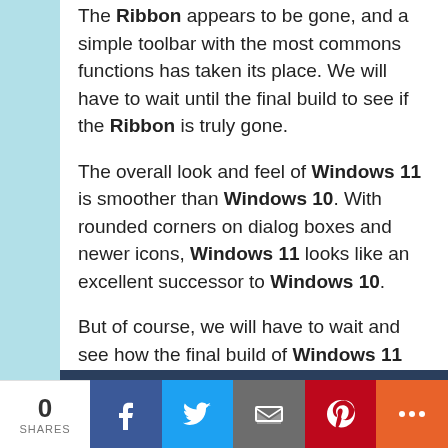The Ribbon appears to be gone, and a simple toolbar with the most commons functions has taken its place. We will have to wait until the final build to see if the Ribbon is truly gone.
The overall look and feel of Windows 11 is smoother than Windows 10. With rounded corners on dialog boxes and newer icons, Windows 11 looks like an excellent successor to Windows 10.
But of course, we will have to wait and see how the final build of Windows 11 looks and feels. For a more in-depth look at this version of Windows 11, check out the video below.